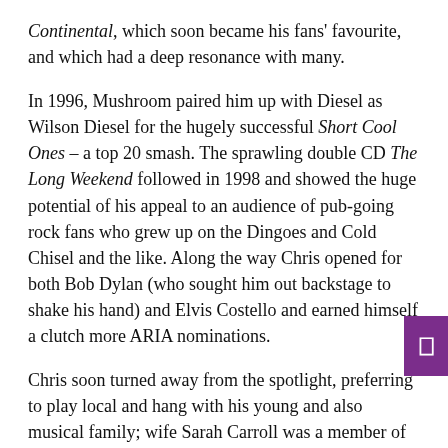Continental, which soon became his fans' favourite, and which had a deep resonance with many.
In 1996, Mushroom paired him up with Diesel as Wilson Diesel for the hugely successful Short Cool Ones – a top 20 smash. The sprawling double CD The Long Weekend followed in 1998 and showed the huge potential of his appeal to an audience of pub-going rock fans who grew up on the Dingoes and Cold Chisel and the like. Along the way Chris opened for both Bob Dylan (who sought him out backstage to shake his hand) and Elvis Costello and earned himself a clutch more ARIA nominations.
Chris soon turned away from the spotlight, preferring to play local and hang with his young and also musical family; wife Sarah Carroll was a member of much-loved country trio Git amongst other projects. They moved down to the Bellarine Peninsula, and Chris continued life and work as harmonica teacher, running programs for boys at local schools and phoning in music book reviews to 3RRR-FM's